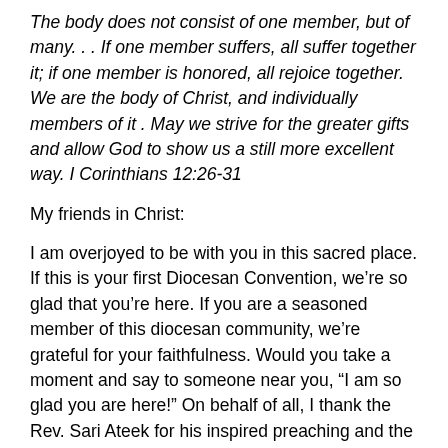The body does not consist of one member, but of many. . . If one member suffers, all suffer together it; if one member is honored, all rejoice together. We are the body of Christ, and individually members of it . May we strive for the greater gifts and allow God to show us a still more excellent way. I Corinthians 12:26-31
My friends in Christ:
I am overjoyed to be with you in this sacred place. If this is your first Diocesan Convention, we’re so glad that you’re here. If you are a seasoned member of this diocesan community, we’re grateful for your faithfulness. Would you take a moment and say to someone near you, “I am so glad you are here!” On behalf of all, I thank the Rev. Sari Ateek for his inspired preaching and the